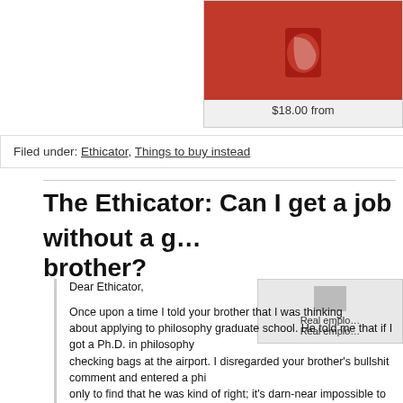[Figure (photo): Red box with shoe icon on top, partially visible at top right of page]
$18.00 from
Filed under: Ethicator, Things to buy instead
The Ethicator: Can I get a job without a good brother?
Dear Ethicator,

Once upon a time I told your brother that I was thinking about applying to philosophy graduate school. He told me that if I got a Ph.D. in philosophy checking bags at the airport. I disregarded your brother's bullshit comment and entered a phi only to find that he was kind of right; it's darn-near impossible to get a job in philosophy. Yo successful in philosophy, but now we all know that this was only because he had a brilliant ideas he could plagiarize. I don't have any siblings. Is there any other way to become a succes doomed to work at the airport?

Thanks, Ethicator!
Possible future TSA employee